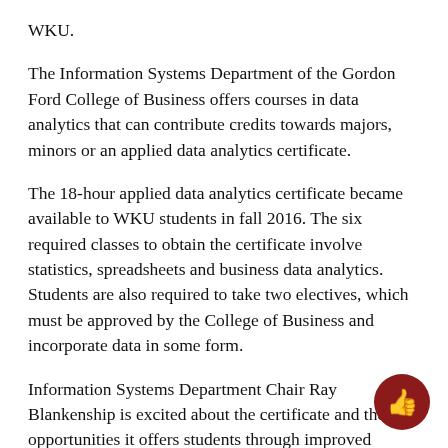WKU.
The Information Systems Department of the Gordon Ford College of Business offers courses in data analytics that can contribute credits towards majors, minors or an applied data analytics certificate.
The 18-hour applied data analytics certificate became available to WKU students in fall 2016. The six required classes to obtain the certificate involve statistics, spreadsheets and business data analytics. Students are also required to take two electives, which must be approved by the College of Business and incorporate data in some form.
Information Systems Department Chair Ray Blankenship is excited about the certificate and the opportunities it offers students through improved communication and widespread careers.